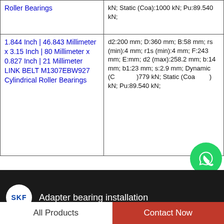| Product | Specifications |
| --- | --- |
| Roller Bearings | kN; Static (Coa):1000 kN; Pu:89.540 kN; |
| 1.844 Inch | 46.843 Millimeter x 3.15 Inch | 80 Millimeter x 0.827 Inch | 21 Millimeter LINK BELT M1307EBW927 Cylindrical Roller Bearings | d2:200 mm; D:360 mm; B:58 mm; rs (min):4 mm; r1s (min):4 mm; F:243 mm; E:mm; d2 (max):258.2 mm; b:14 mm; b1:23 mm; s:2.9 mm; Dynamic (C):779 kN; Static (Coa):1000 kN; Pu:89.540 kN; |
[Figure (screenshot): SKF video thumbnail for 'Adapter bearing installation' showing dark background with SKF logo and white text]
All Products
Contact Now